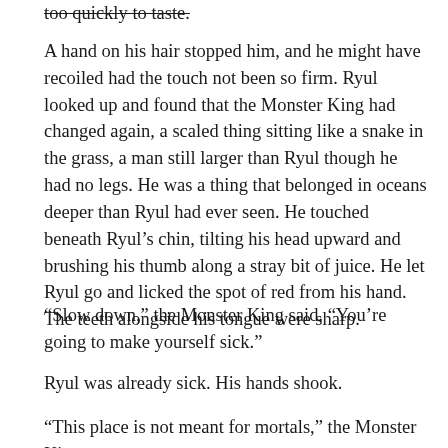too quickly to taste.
A hand on his hair stopped him, and he might have recoiled had the touch not been so firm. Ryul looked up and found that the Monster King had changed again, a scaled thing sitting like a snake in the grass, a man still larger than Ryul though he had no legs. He was a thing that belonged in oceans deeper than Ryul had ever seen. He touched beneath Ryul's chin, tilting his head upward and brushing his thumb along a stray bit of juice. He let Ryul go and licked the spot of red from his hand. The teeth alongside his tongue were sharp.
“Slow down,” the Monster King said. “You’re going to make yourself sick.”
Ryul was already sick. His hands shook.
“This place is not meant for mortals,” the Monster King